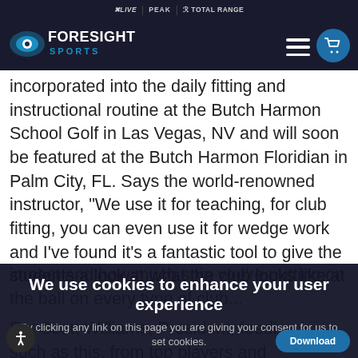FX LIVE | PEAK | TOTAL RANGE — Foresight Sports navigation bar with hamburger menu and cart
incorporated into the daily fitting and instructional routine at the Butch Harmon School Golf in Las Vegas, NV and will soon be featured at the Butch Harmon Floridian in Palm City, FL. Says the world-renowned instructor, "We use it for teaching, for club fitting, you can even use it for wedge work and I've found it's a fantastic tool to give the students a look at what the club looks like at impact and how much spin you're putting on the ball on every type of club..."
For Scott W[illiams], President, feedback such as this, from top players and instructors... ago company's mission since introducing their first
We use cookies to enhance your user experience
By clicking any link on this page you are giving your consent for us to set cookies.
OK, I agree
More Info